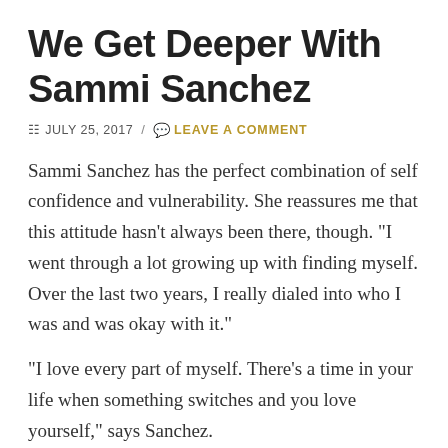We Get Deeper With Sammi Sanchez
JULY 25, 2017  /  LEAVE A COMMENT
Sammi Sanchez has the perfect combination of self confidence and vulnerability. She reassures me that this attitude hasn’t always been there, though. “I went through a lot growing up with finding myself. Over the last two years, I really dialed into who I was and was okay with it.”
“I love every part of myself. There’s a time in your life when something switches and you love yourself,” says Sanchez.